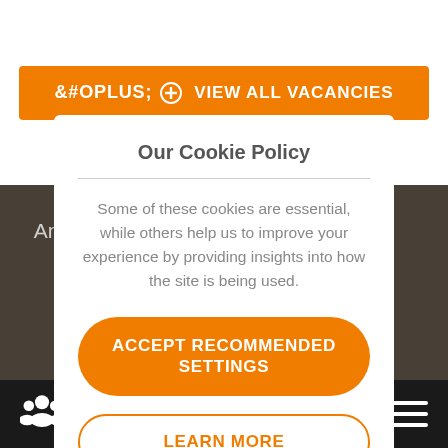[Figure (screenshot): Orange 'View All Vacancies' button with a plus/circle icon on white background]
[Figure (photo): Dark overlay background showing partial text about Amber recruitment organization and people's faces]
Our Cookie Policy
Some of these cookies are essential, while others help us to improve your experience by providing insights into how the site is being used.
ACCEPT RECOMMENDED SETTINGS
LEARN MORE